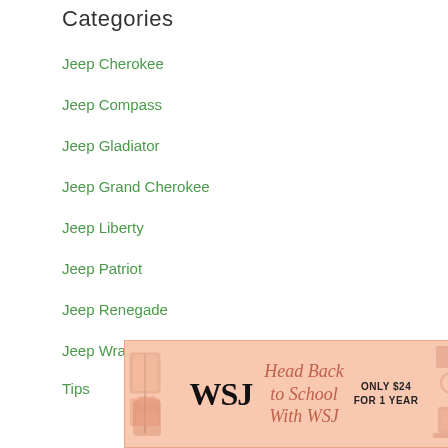Categories
Jeep Cherokee
Jeep Compass
Jeep Gladiator
Jeep Grand Cherokee
Jeep Liberty
Jeep Patriot
Jeep Renegade
Jeep Wrangler
Tips
[Figure (illustration): WSJ advertisement banner: peach/salmon background with decorative school supply icons, WSJ logo, text 'Head Back to School With WSJ', 'ONLY $24 FOR 1 YEAR']